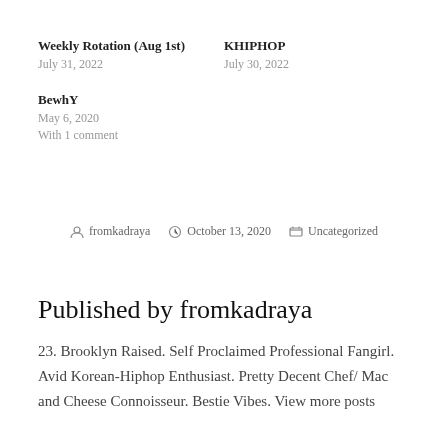Weekly Rotation (Aug 1st)
July 31, 2022
KHIPHOP
July 30, 2022
BewhY
May 6, 2020
With 1 comment
fromkadraya  October 13, 2020  Uncategorized
Published by fromkadraya
23. Brooklyn Raised. Self Proclaimed Professional Fangirl. Avid Korean-Hiphop Enthusiast. Pretty Decent Chef/ Mac and Cheese Connoisseur. Bestie Vibes. View more posts